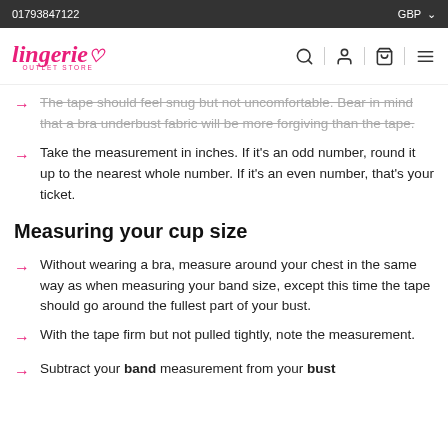01793847122   GBP
The tape should feel snug but not uncomfortable. Bear in mind that a bra underbust fabric will be more forgiving than the tape.
Take the measurement in inches. If it's an odd number, round it up to the nearest whole number. If it's an even number, that's your ticket.
Measuring your cup size
Without wearing a bra, measure around your chest in the same way as when measuring your band size, except this time the tape should go around the fullest part of your bust.
With the tape firm but not pulled tightly, note the measurement.
Subtract your band measurement from your bust